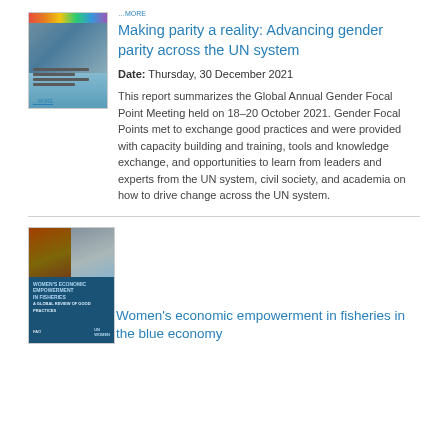[Figure (illustration): Thumbnail cover image of a UN report with colorful header bar and group photo]
Making parity a reality: Advancing gender parity across the UN system
Date: Thursday, 30 December 2021
This report summarizes the Global Annual Gender Focal Point Meeting held on 18–20 October 2021. Gender Focal Points met to exchange good practices and were provided with capacity building and training, tools and knowledge exchange, and opportunities to learn from leaders and experts from the UN system, civil society, and academia on how to drive change across the UN system.
[Figure (illustration): Thumbnail cover image of Women's Economic Empowerment in Fisheries report with blue background and group photos]
Women's economic empowerment in fisheries in the blue economy